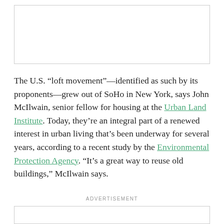[Figure (other): Advertisement placeholder box at top of page]
The U.S. “loft movement”—identified as such by its proponents—grew out of SoHo in New York, says John McIlwain, senior fellow for housing at the Urban Land Institute. Today, they’re an integral part of a renewed interest in urban living that’s been underway for several years, according to a recent study by the Environmental Protection Agency. “It’s a great way to reuse old buildings,” McIlwain says.
ADVERTISEMENT
[Figure (other): Advertisement placeholder box at bottom of page]